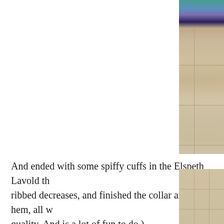[Figure (photo): Top portion of a knitted/crocheted colorful sweater or garment with teal, blue, and purple pattern lying on beige floor tiles. Only the right portion of the photo is visible, cropped at the top of the page.]
And ended with some spiffy cuffs in the Elspeth Lavold th ribbed decreases, and finished the collar and the hem, all w quality. And is a lot of fun to do.)
Looks done, right?
Not so much. On the right side facing you, you can see what it looks like everywhere but that one little haven of done-ness
[Figure (photo): Bottom portion showing beige floor tiles, partial view. Continuation of a photo showing the floor tiles without the garment visible.]